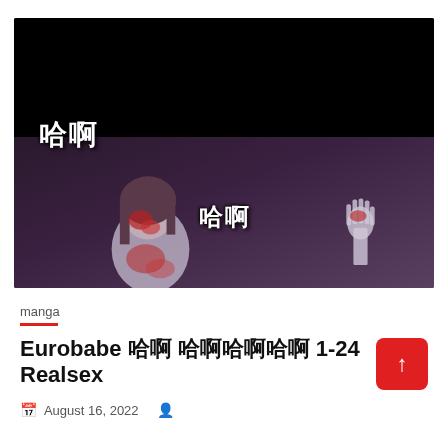[Figure (illustration): Manga/anime illustration with black upper half and a dark purple scene showing a female character with brown hair covered in blood, reaching hand up, with Chinese text '哈啊' appearing twice in white.]
manga
Eurobabe 하마 하마하마하마 1-24 Realsex
August 16, 2022